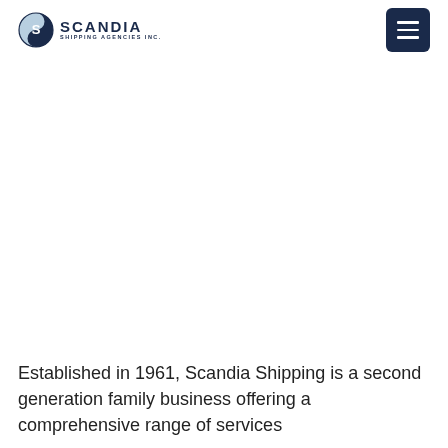Scandia Shipping Agencies Inc.
Established in 1961, Scandia Shipping is a second generation family business offering a comprehensive range of services